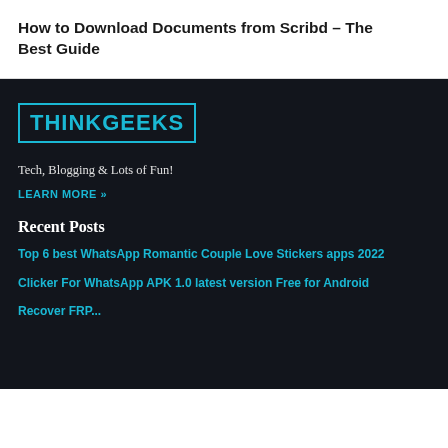How to Download Documents from Scribd – The Best Guide
[Figure (logo): THINKGEEKS logo in teal/cyan color with a rectangular border]
Tech, Blogging & Lots of Fun!
LEARN MORE »
Recent Posts
Top 6 best WhatsApp Romantic Couple Love Stickers apps 2022
Clicker For WhatsApp APK 1.0 latest version Free for Android
Recover FRP...